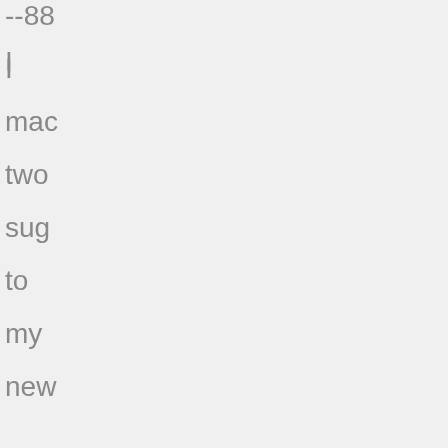--88
I
mac
two
sug
to
my
new
resi
clien
One
leav
ever
as
is,
and